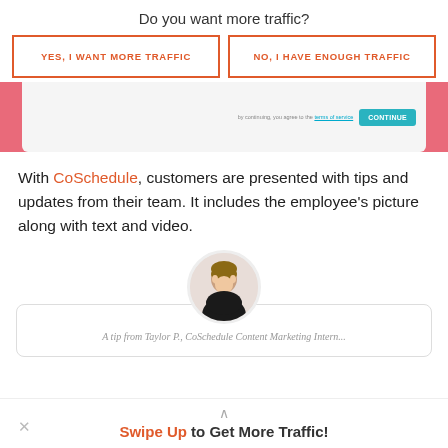Do you want more traffic?
YES, I WANT MORE TRAFFIC
NO, I HAVE ENOUGH TRAFFIC
[Figure (screenshot): Partial screenshot showing a form submission area with terms of service text and a Continue button, overlaid on a pink/coral background strip]
With CoSchedule, customers are presented with tips and updates from their team. It includes the employee's picture along with text and video.
[Figure (photo): Circular avatar photo of a woman (Taylor P., CoSchedule Content Marketing Intern) above a card with italic caption text]
A tip from Taylor P., CoSchedule Content Marketing Intern...
Swipe Up to Get More Traffic!